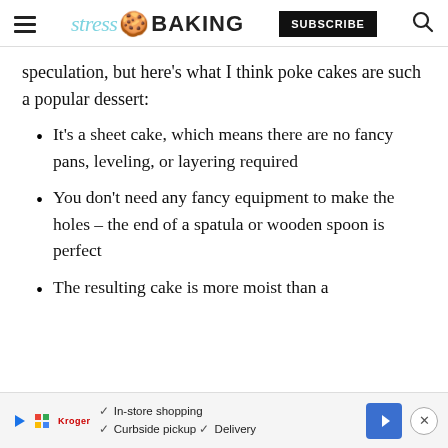stress BAKING | SUBSCRIBE
speculation, but here’s what I think poke cakes are such a popular dessert:
It’s a sheet cake, which means there are no fancy pans, leveling, or layering required
You don’t need any fancy equipment to make the holes – the end of a spatula or wooden spoon is perfect
The resulting cake is more moist than a
[Figure (screenshot): Advertisement banner with store pickup/delivery options and a navigation icon]